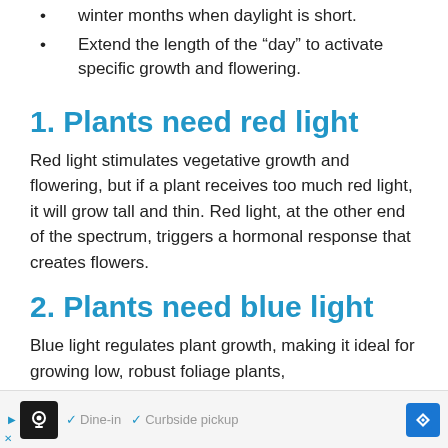winter months when daylight is short.
Extend the length of the “day” to activate specific growth and flowering.
1. Plants need red light
Red light stimulates vegetative growth and flowering, but if a plant receives too much red light, it will grow tall and thin. Red light, at the other end of the spectrum, triggers a hormonal response that creates flowers.
2. Plants need blue light
Blue light regulates plant growth, making it ideal for growing low, robust foliage plants,
[Figure (other): Advertisement banner showing a restaurant with Dine-in and Curbside pickup checkmarks and a navigation icon]